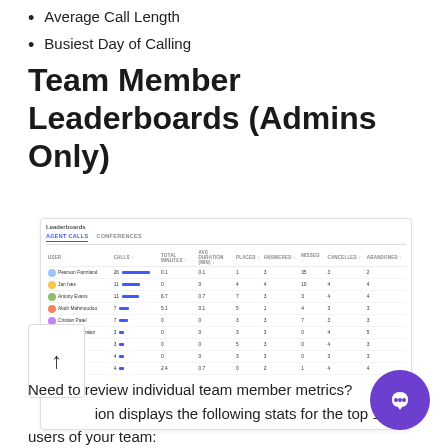Average Call Length
Busiest Day of Calling
Team Member Leaderboards (Admins Only)
[Figure (screenshot): Screenshot of a Leaderboards UI showing Agent Calls tab with a table listing team members and their call statistics including Calls, Total Minutes, Avg Duration, Placed, Answered, Missed, Cancelled, and Abandoned columns with blue bar indicators.]
Need to review individual team member metrics? This section displays the following stats for the top 10 users of your team: